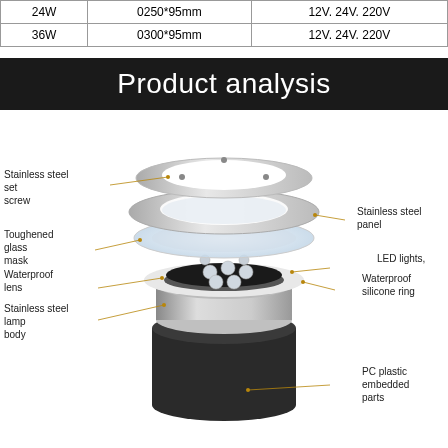|  |  |  |
| --- | --- | --- |
| 24W | 0250*95mm | 12V. 24V. 220V |
| 36W | 0300*95mm | 12V. 24V. 220V |
Product analysis
[Figure (engineering-diagram): Exploded view of an LED ground light showing: Stainless steel set screw (top ring), Stainless steel panel, Toughened glass mask, LED lights, Waterproof lens, Waterproof silicone ring, Stainless steel lamp body, PC plastic embedded parts (bottom black cup)]